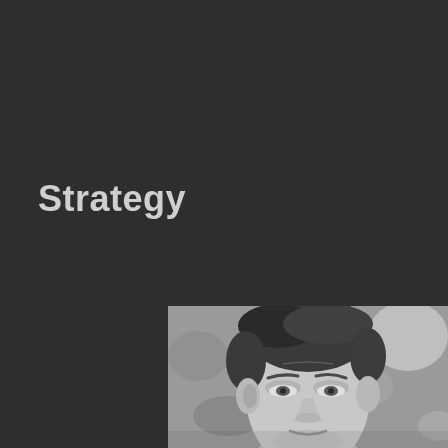Strategy
[Figure (photo): Black and white close-up portrait photograph of a middle-aged man with dark hair, looking slightly to the side, with a blurred outdoor background.]